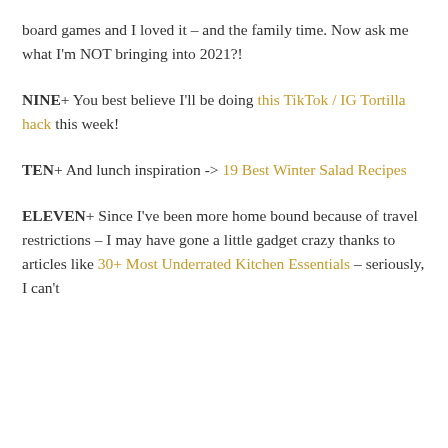board games and I loved it – and the family time. Now ask me what I'm NOT bringing into 2021?!
NINE+ You best believe I'll be doing this TikTok / IG Tortilla hack this week!
TEN+ And lunch inspiration -> 19 Best Winter Salad Recipes
ELEVEN+ Since I've been more home bound because of travel restrictions – I may have gone a little gadget crazy thanks to articles like 30+ Most Underrated Kitchen Essentials – seriously, I can't